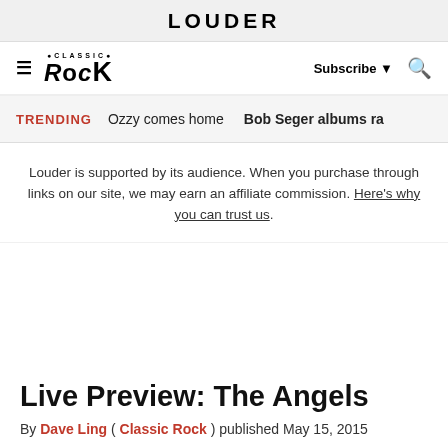LOUDER
[Figure (logo): Classic Rock magazine logo with hamburger menu icon, Subscribe button, and search icon]
TRENDING   Ozzy comes home   Bob Seger albums ra
Louder is supported by its audience. When you purchase through links on our site, we may earn an affiliate commission. Here's why you can trust us.
Live Preview: The Angels
By Dave Ling ( Classic Rock ) published May 15, 2015